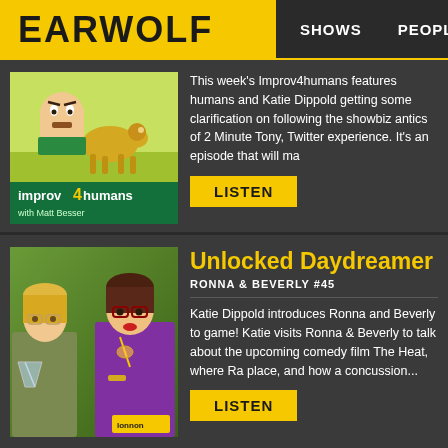EARWOLF | SHOWS | PEOPLE
This week's Improv4humans features humans and Katie Dippold getting some clarification on following the showbiz antics of 2 Minute Tony, Twitter experience. It's an episode that will ma
[Figure (photo): improv4humans with Matt Besser podcast cover art showing a cartoonish man and dog on yellow-green background]
LISTEN
Unlocked Daydreamer
RONNA & BEVERLY #45
Katie Dippold introduces Ronna and Beverly to game! Katie visits Ronna & Beverly to talk about the upcoming comedy film The Heat, where Ra place, and how a concussion...
[Figure (photo): Ronna & Beverly podcast cover photo showing two women dressed in colorful outfits against a green background]
LISTEN